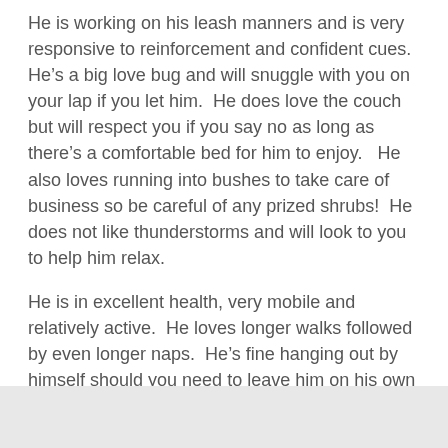He is working on his leash manners and is very responsive to reinforcement and confident cues.  He's a big love bug and will snuggle with you on your lap if you let him.  He does love the couch but will respect you if you say no as long as there's a comfortable bed for him to enjoy.   He also loves running into bushes to take care of business so be careful of any prized shrubs!  He does not like thunderstorms and will look to you to help him relax.
He is in excellent health, very mobile and relatively active.  He loves longer walks followed by even longer naps.  He's fine hanging out by himself should you need to leave him on his own for a few hours.  He's a wonderful dog and will love you unconditionally.